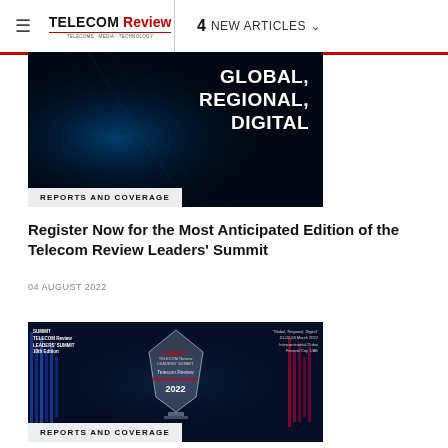TELECOM Review — 4 NEW ARTICLES
[Figure (photo): Dark globe/earth image with text overlay: GLOBAL, REGIONAL, DIGITAL and badge REPORTS AND COVERAGE]
Register Now for the Most Anticipated Edition of the Telecom Review Leaders' Summit
04 AUGUST 2022
[Figure (photo): Summit trophy award image showing Telecom Review Excellence Awards 2022 with blue digital background. Badge: REPORTS AND COVERAGE]